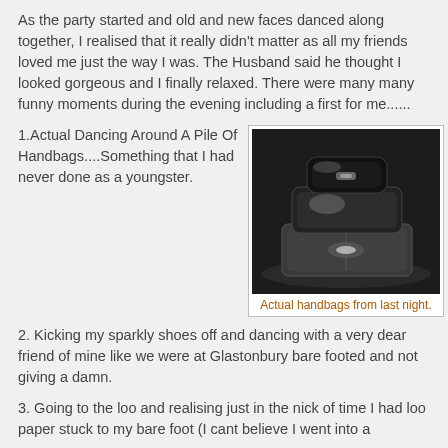As the party started and old and new faces danced along together, I realised that it really didn't matter as all my friends loved me just the way I was. The Husband said he thought I looked gorgeous and I finally relaxed. There were many many funny moments during the evening including a first for me......
1.Actual Dancing Around A Pile Of Handbags....Something that I had never done as a youngster.
[Figure (photo): Black and white photo of a pile of handbags on a floor]
Actual handbags from last night.
2. Kicking my sparkly shoes off and dancing with a very dear friend of mine like we were at Glastonbury bare footed and not giving a damn.
3. Going to the loo and realising just in the nick of time I had loo paper stuck to my bare foot (I cant believe I went into a